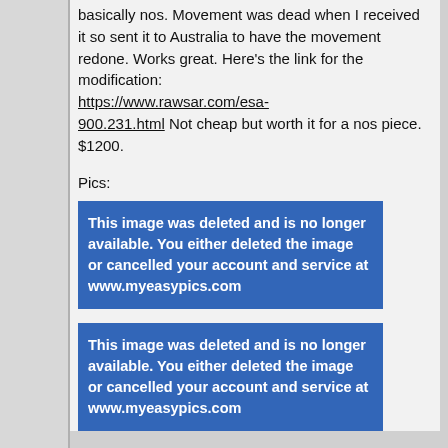basically nos. Movement was dead when I received it so sent it to Australia to have the movement redone. Works great. Here's the link for the modification: https://www.rawsar.com/esa-900.231.html Not cheap but worth it for a nos piece. $1200.
Pics:
[Figure (other): Deleted image placeholder: This image was deleted and is no longer available. You either deleted the image or cancelled your account and service at www.myeasypics.com]
[Figure (other): Deleted image placeholder: This image was deleted and is no longer available. You either deleted the image or cancelled your account and service at www.myeasypics.com]